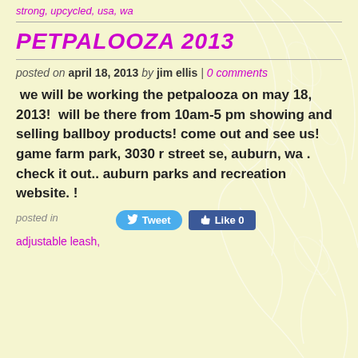strong, upcycled, usa, wa
PETPALOOZA 2013
posted on april 18, 2013 by jim ellis | 0 comments
we will be working the petpalooza on may 18, 2013!  will be there from 10am-5 pm showing and selling ballboy products! come out and see us!  game farm park, 3030 r street se, auburn, wa . check it out.. auburn parks and recreation website. !
posted in
adjustable leash,